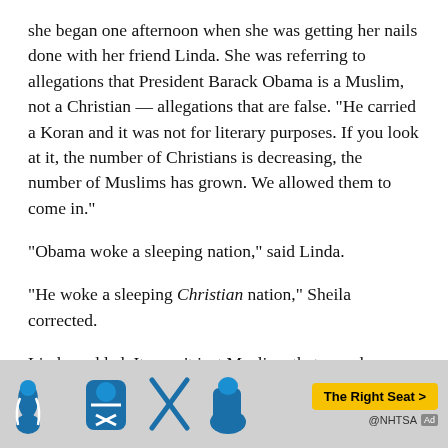she began one afternoon when she was getting her nails done with her friend Linda. She was referring to allegations that President Barack Obama is a Muslim, not a Christian — allegations that are false. “He carried a Koran and it was not for literary purposes. If you look at it, the number of Christians is decreasing, the number of Muslims has grown. We allowed them to come in.”
“Obama woke a sleeping nation,” said Linda.
“He woke a sleeping Christian nation,” Sheila corrected.
Linda nodded. It wasn’t just Muslims that posed a threat, she said, but all kinds of immigrants coming into the country.
“Unpapered people,” Sheila said, adding that she had seen
[Figure (other): Advertisement banner showing NHTSA ad with blue car seat icons and seatbelt graphics, a yellow 'The Right Seat >' button, and '@NHTSA' label with an ad tag.]